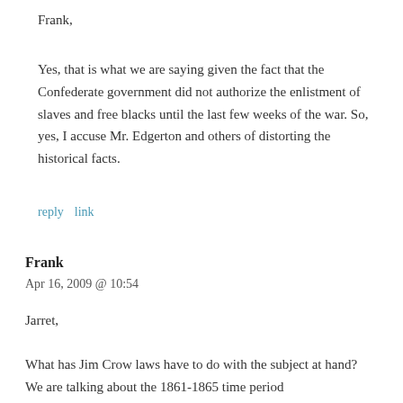Frank,
Yes, that is what we are saying given the fact that the Confederate government did not authorize the enlistment of slaves and free blacks until the last few weeks of the war. So, yes, I accuse Mr. Edgerton and others of distorting the historical facts.
reply   link
Frank
Apr 16, 2009 @ 10:54
Jarret,
What has Jim Crow laws have to do with the subject at hand? We are talking about the 1861-1865 time period